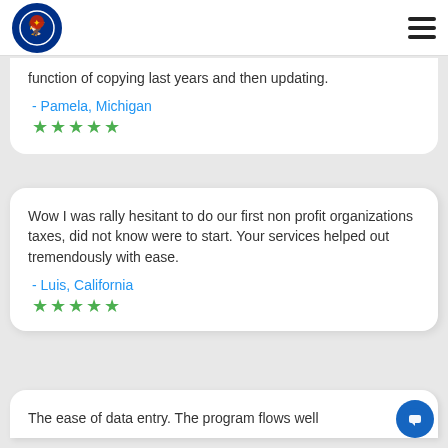Express Tax Exempt logo and navigation menu
function of copying last years and then updating.
- Pamela, Michigan
★★★★★
Wow I was rally hesitant to do our first non profit organizations taxes, did not know were to start. Your services helped out tremendously with ease.
- Luis, California
★★★★★
The ease of data entry. The program flows well